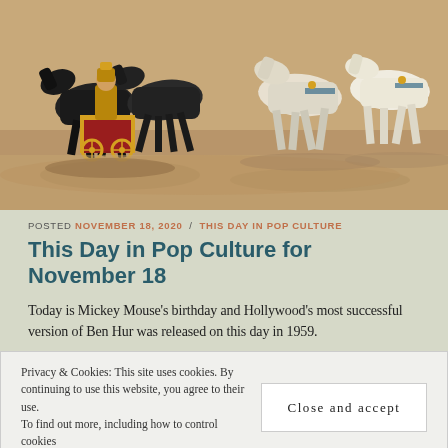[Figure (photo): Chariot race scene with horses and riders in ancient Roman costume, from the film Ben Hur]
POSTED NOVEMBER 18, 2020 / THIS DAY IN POP CULTURE
This Day in Pop Culture for November 18
Today is Mickey Mouse's birthday and Hollywood's most successful version of Ben Hur was released on this day in 1959.
Privacy & Cookies: This site uses cookies. By continuing to use this website, you agree to their use.
To find out more, including how to control cookies
Close and accept
[Figure (photo): Partial view of a person at the bottom of the page]